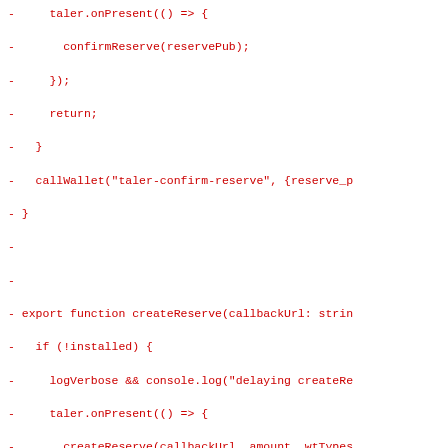[Figure (screenshot): Code diff showing deleted lines (prefixed with -) in red monospace font. The code is TypeScript/JavaScript showing functions confirmReserve, createReserve, and handlePaymentResponse.]